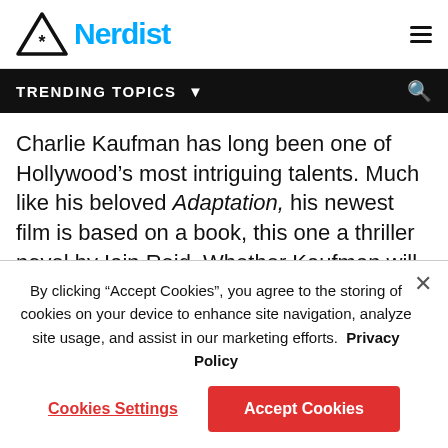Nerdist
TRENDING TOPICS
Charlie Kaufman has long been one of Hollywood's most intriguing talents. Much like his beloved Adaptation, his newest film is based on a book, this one a thriller novel by Iain Reid. Whether Kaufman will do anything as out of the box here is yet to be seen, but I'm Thinking of Ending Things looks to be another unsettling, strange, and exciting story as a young couple visit their family only to
By clicking “Accept Cookies”, you agree to the storing of cookies on your device to enhance site navigation, analyze site usage, and assist in our marketing efforts. Privacy Policy
Cookies Settings
Accept Cookies